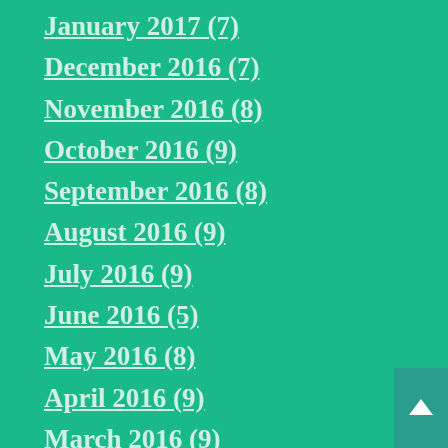January 2017 (7)
December 2016 (7)
November 2016 (8)
October 2016 (9)
September 2016 (8)
August 2016 (9)
July 2016 (9)
June 2016 (5)
May 2016 (8)
April 2016 (9)
March 2016 (9)
February 2016 (7)
January 2016 (7)
December 2015 (9)
November 2015 (9)
October 2015 (9)
September 2015 (9)